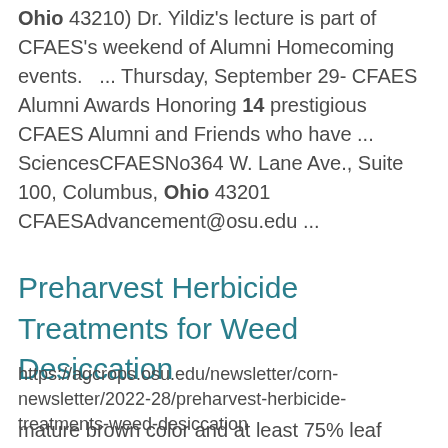Ohio 43210) Dr. Yildiz's lecture is part of CFAES's weekend of Alumni Homecoming events.   ... Thursday, September 29- CFAES Alumni Awards Honoring 14 prestigious CFAES Alumni and Friends who have ... SciencesCFAESNo364 W. Lane Ave., Suite 100, Columbus, Ohio 43201 CFAESAdvancement@osu.edu ...
Preharvest Herbicide Treatments for Weed Desiccation
https://agcrops.osu.edu/newsletter/corn-newsletter/2022-28/preharvest-herbicide-treatments-weed-desiccation
mature brown color and at least 75% leaf